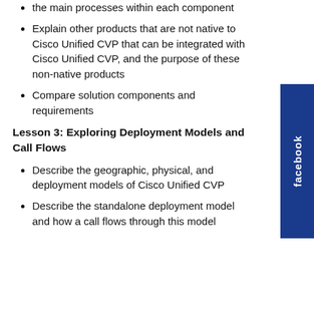the main processes within each component
Explain other products that are not native to Cisco Unified CVP that can be integrated with Cisco Unified CVP, and the purpose of these non-native products
Compare solution components and requirements
Lesson 3: Exploring Deployment Models and Call Flows
Describe the geographic, physical, and deployment models of Cisco Unified CVP
Describe the standalone deployment model and how a call flows through this model